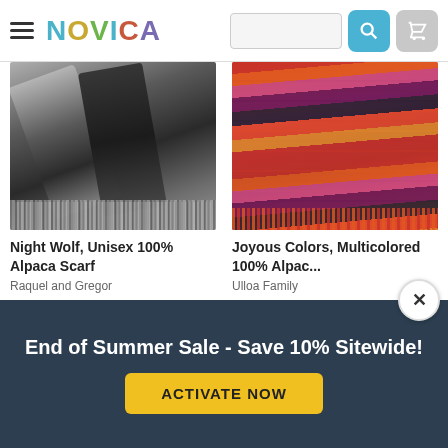NOVICA
[Figure (photo): Grey and black knitted alpaca scarf with fringe, displayed on stone background]
[Figure (photo): Colorful multicolored alpaca scarf in red, orange, pink, purple tones on wooden surface]
Night Wolf, Unisex 100% Alpaca Scarf
Raquel and Gregor
★★★★★ (140)
Joyous Colors, Multicolored 100% Alpac...
Ulloa Family
★★★★½ (23)
End of Summer Sale - Save 10% Sitewide!
ACTIVATE NOW